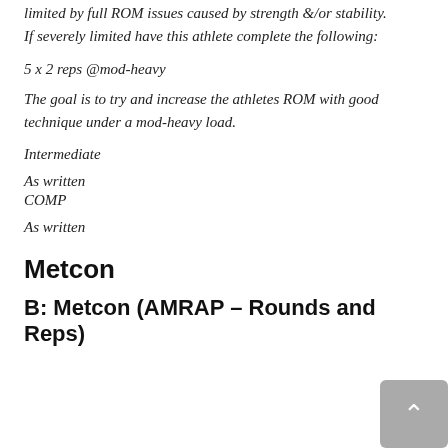limited by full ROM issues caused by strength &/or stability. If severely limited have this athlete complete the following:
5 x 2 reps @mod-heavy
The goal is to try and increase the athletes ROM with good technique under a mod-heavy load.
Intermediate
As written
COMP
As written
Metcon
B: Metcon (AMRAP – Rounds and Reps)